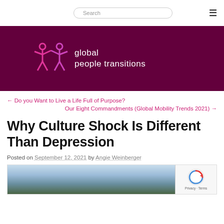Search [navigation bar with search box and hamburger menu]
[Figure (logo): Global People Transitions logo — two stylized human figures in magenta/pink on a dark purple/maroon background banner, with text 'global people transitions' in white]
← Do you Want to Live a Life Full of Purpose?
Our Eight Commandments (Global Mobility Trends 2021) →
Why Culture Shock Is Different Than Depression
Posted on September 12, 2021 by Angie Weinberger
[Figure (photo): Landscape photo showing misty mountains with a forest of pine trees in the foreground under a pale blue-grey sky]